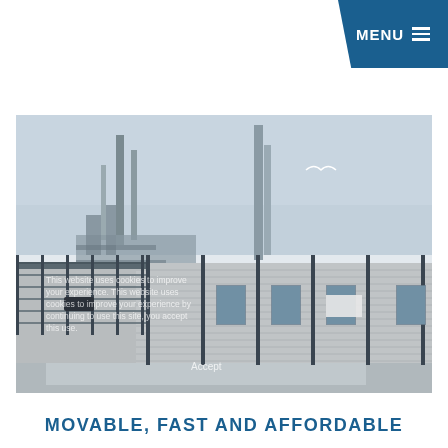MENU
[Figure (photo): Industrial facility with modular/portable buildings in the foreground along a paved road, with factory chimneys and industrial structures in the background under a pale blue sky. A seagull is visible in flight.]
MOVABLE, FAST AND AFFORDABLE